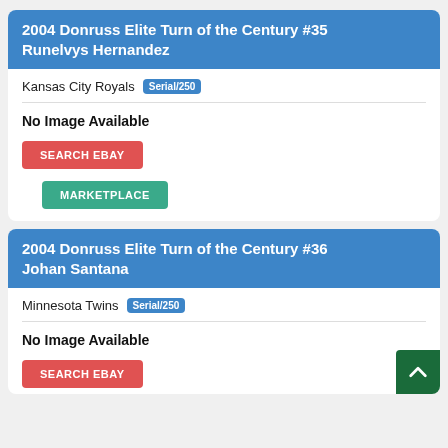2004 Donruss Elite Turn of the Century #35 Runelvys Hernandez
Kansas City Royals  Serial/250
No Image Available
SEARCH EBAY
MARKETPLACE
2004 Donruss Elite Turn of the Century #36 Johan Santana
Minnesota Twins  Serial/250
No Image Available
SEARCH EBAY